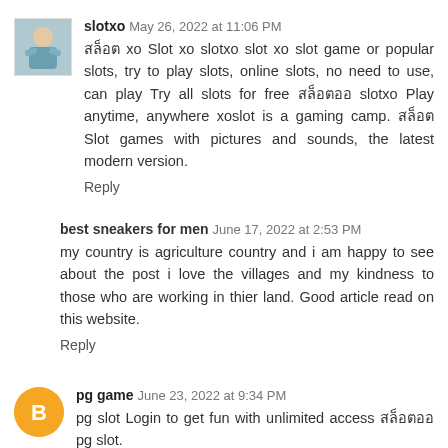[Figure (photo): Avatar photo of a person, small square thumbnail]
slotxo May 26, 2022 at 11:06 PM
สล็อต xo Slot xo slotxo slot xo slot game or popular slots, try to play slots, online slots, no need to use, can play Try all slots for free สล็อตออ slotxo Play anytime, anywhere xoslot is a gaming camp. สล็อต Slot games with pictures and sounds, the latest modern version.
Reply
best sneakers for men June 17, 2022 at 2:53 PM
my country is agriculture country and i am happy to see about the post i love the villages and my kindness to those who are working in thier land. Good article read on this website.
Reply
[Figure (logo): Orange circular blogger avatar icon with letter B]
pg game June 23, 2022 at 9:34 PM
pg slot Login to get fun with unlimited access สล็อตออ pg slot.